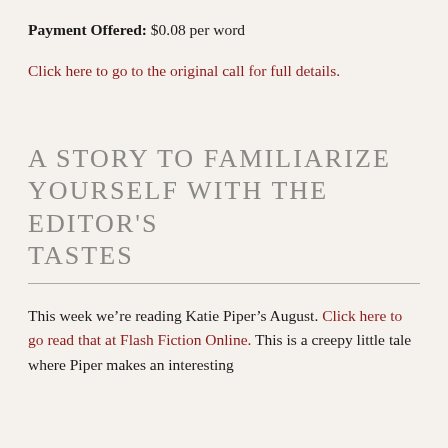Payment Offered: $0.08 per word
Click here to go to the original call for full details.
A STORY TO FAMILIARIZE YOURSELF WITH THE EDITOR'S TASTES
This week we’re reading Katie Piper’s August. Click here to go read that at Flash Fiction Online. This is a creepy little tale where Piper makes an interesting